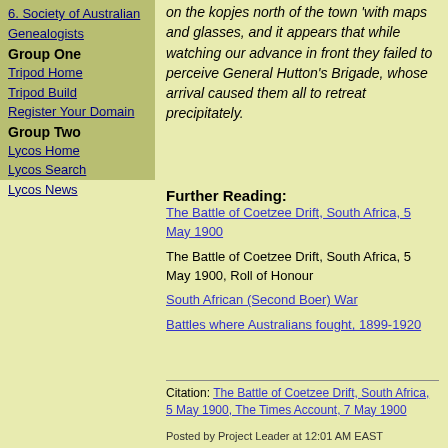6. Society of Australian Genealogists
Group One
Tripod Home
Tripod Build
Register Your Domain
Group Two
Lycos Home
Lycos Search
Lycos News
on the kopjes north of the town 'with maps and glasses, and it appears that while watching our advance in front they failed to perceive General Hutton's Brigade, whose arrival caused them all to retreat precipitately.
Further Reading:
The Battle of Coetzee Drift, South Africa, 5 May 1900
The Battle of Coetzee Drift, South Africa, 5 May 1900, Roll of Honour
South African (Second Boer) War
Battles where Australians fought, 1899-1920
Citation: The Battle of Coetzee Drift, South Africa, 5 May 1900, The Times Account, 7 May 1900
Posted by Project Leader at 12:01 AM EAST